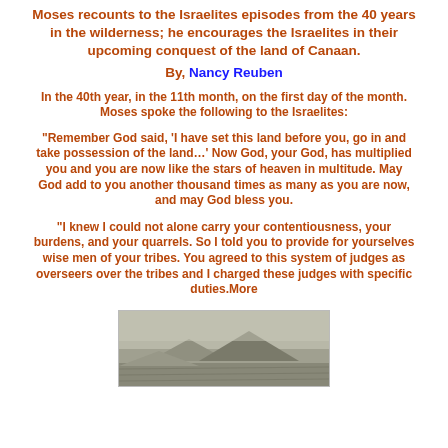Moses recounts to the Israelites episodes from the 40 years in the wilderness; he encourages the Israelites in their upcoming conquest of the land of Canaan.
By, Nancy Reuben
In the 40th year, in the 11th month, on the first day of the month. Moses spoke the following to the Israelites:
"Remember God said, 'I have set this land before you, go in and take possession of the land…' Now God, your God, has multiplied you and you are now like the stars of heaven in multitude. May God add to you another thousand times as many as you are now, and may God bless you.
"I knew I could not alone carry your contentiousness, your burdens, and your quarrels. So I told you to provide for yourselves wise men of your tribes. You agreed to this system of judges as overseers over the tribes and I charged these judges with specific duties.More
[Figure (photo): Black and white photograph of a landscape, possibly a desert or wilderness scene with hills or mountains in the background.]